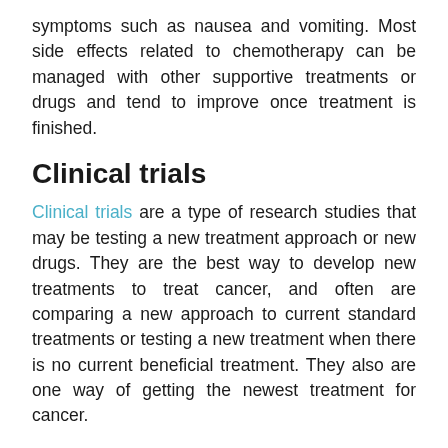symptoms such as nausea and vomiting. Most side effects related to chemotherapy can be managed with other supportive treatments or drugs and tend to improve once treatment is finished.
Clinical trials
Clinical trials are a type of research studies that may be testing a new treatment approach or new drugs. They are the best way to develop new treatments to treat cancer, and often are comparing a new approach to current standard treatments or testing a new treatment when there is no current beneficial treatment. They also are one way of getting the newest treatment for cancer.
The suitability of a clinical trial for each patient depends on the cancer type and stage, prior